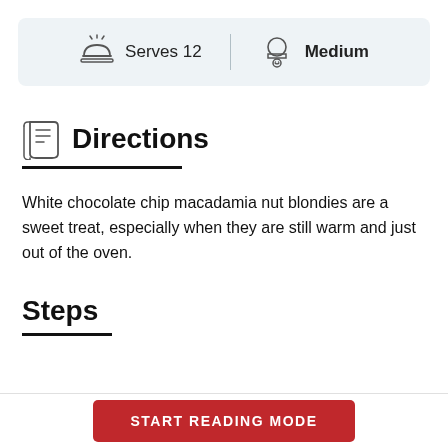[Figure (infographic): Info bar showing 'Serves 12' with a cloche/bell icon and 'Medium' with a chef hat icon, on a light blue-grey background]
Directions
White chocolate chip macadamia nut blondies are a sweet treat, especially when they are still warm and just out of the oven.
Steps
START READING MODE